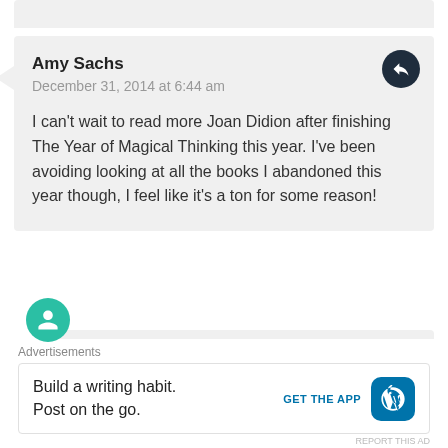Amy Sachs
December 31, 2014 at 6:44 am
I can't wait to read more Joan Didion after finishing The Year of Magical Thinking this year. I've been avoiding looking at all the books I abandoned this year though, I feel like it's a ton for some reason!
Emily J.
December 31, 2014 at 9:04 am
The Year of Magical Thinking is one of her best
Advertisements
Build a writing habit.
Post on the go.
GET THE APP